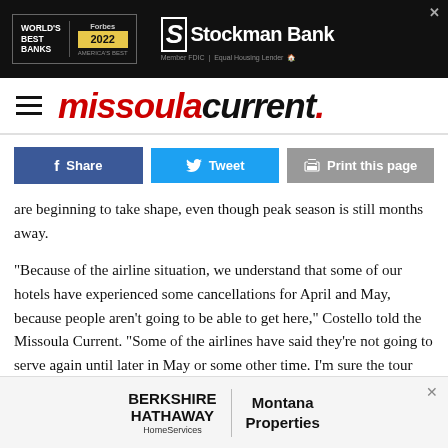[Figure (other): Stockman Bank advertisement banner with Forbes World's Best Banks 2022 badge on dark background]
missoula current.
Share  Tweet  Print this page
are beginning to take shape, even though peak season is still months away.
“Because of the airline situation, we understand that some of our hotels have experienced some cancellations for April and May, because people aren’t going to be able to get here,” Costello told the Missoula Current. “Some of the airlines have said they’re not going to serve again until later in May or some other time. I’m sure the tour operators are in the
[Figure (other): Berkshire Hathaway HomeServices Montana Properties advertisement banner]